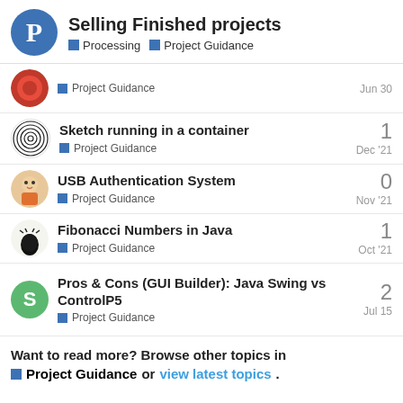Selling Finished projects — Processing | Project Guidance
Project Guidance — Jun 30
Sketch running in a container — Project Guidance — Dec '21 — 1 reply
USB Authentication System — Project Guidance — Nov '21 — 0 replies
Fibonacci Numbers in Java — Project Guidance — Oct '21 — 1 reply
Pros & Cons (GUI Builder): Java Swing vs ControlP5 — Project Guidance — Jul 15 — 2 replies
Want to read more? Browse other topics in Project Guidance or view latest topics.